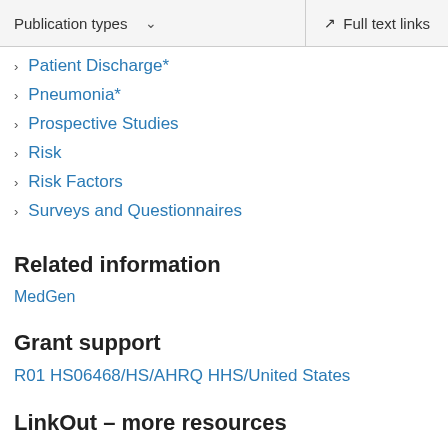Publication types  ∨   Full text links
Patient Discharge*
Pneumonia*
Prospective Studies
Risk
Risk Factors
Surveys and Questionnaires
Related information
MedGen
Grant support
R01 HS06468/HS/AHRQ HHS/United States
LinkOut – more resources